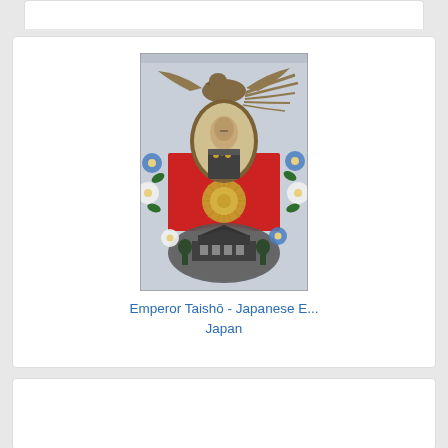[Figure (illustration): Japanese postcard depicting Emperor Taishō in military uniform in an oval portrait frame, surrounded by a golden phoenix/eagle at top, red background panel with chrysanthemum imperial seal, blue and white flowers, and a photograph of a Japanese palace building at the bottom.]
Emperor Taishō - Japanese E...
Japan